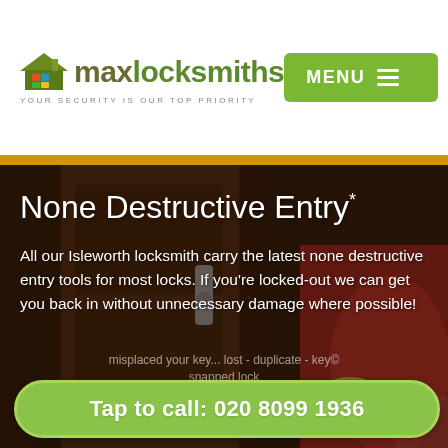[Figure (logo): Max Locksmiths logo with house icon and tagline YOUR SECURITY IS OUR TOP PRIORITY]
[Figure (screenshot): Green MENU button with three horizontal lines (hamburger icon)]
[Figure (photo): Background photo of a person's hand picking a door lock, dark warm tones]
None Destructive Entry*
All our Isleworth locksmith carry the latest none destructive entry tools for most locks. If you're locked-out we can get you back in without unnecessary damage where possible!
misplaced your key... lost - duplicate - key©
snapped lock
Tap to call: 020 8099 1936